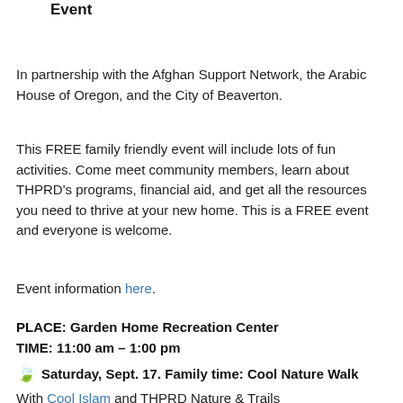Saturday, Sept. 17 Afghan Community Welcoming Event
In partnership with the Afghan Support Network, the Arabic House of Oregon, and the City of Beaverton.
This FREE family friendly event will include lots of fun activities. Come meet community members, learn about THPRD's programs, financial aid, and get all the resources you need to thrive at your new home. This is a FREE event and everyone is welcome.
Event information here.
PLACE: Garden Home Recreation Center
TIME: 11:00 am – 1:00 pm
Saturday, Sept. 17. Family time: Cool Nature Walk
With Cool Islam and THPRD Nature & Trails